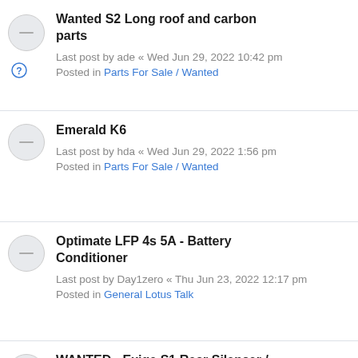Wanted S2 Long roof and carbon parts
Last post by ade « Wed Jun 29, 2022 10:42 pm
Posted in Parts For Sale / Wanted
Emerald K6
Last post by hda « Wed Jun 29, 2022 1:56 pm
Posted in Parts For Sale / Wanted
Optimate LFP 4s 5A - Battery Conditioner
Last post by Day1zero « Thu Jun 23, 2022 12:17 pm
Posted in General Lotus Talk
WANTED - Exige S1 Rear Silencer / Muffler
Last post by Oloroso « Wed Jun 15, 2022 8:48 am
Posted in Parts For Sale / Wanted